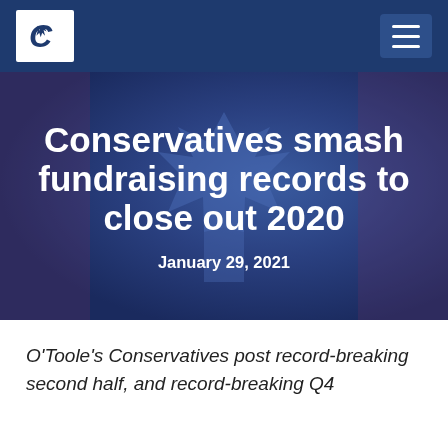[Figure (logo): Conservative Party of Canada logo — white C with arrow on white background in navy nav bar]
[Figure (photo): Hero banner with blurred Canadian maple leaf flag in dark navy/blue overlay tones]
Conservatives smash fundraising records to close out 2020
January 29, 2021
O'Toole's Conservatives post record-breaking second half, and record-breaking Q4